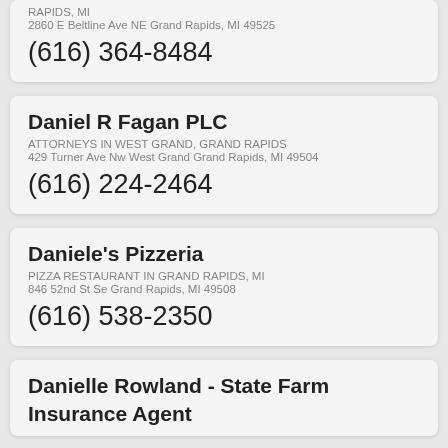RAPIDS, MI
2860 E Beltline Ave NE Grand Rapids, MI 49525
(616) 364-8484
Daniel R Fagan PLC
ATTORNEYS IN WEST GRAND, GRAND RAPIDS
429 Turner Ave Nw West Grand Grand Rapids, MI 49504
(616) 224-2464
Daniele's Pizzeria
PIZZA RESTAURANT IN GRAND RAPIDS, MI
846 52nd St Se Grand Rapids, MI 49508
(616) 538-2350
Danielle Rowland - State Farm Insurance Agent